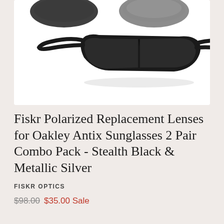[Figure (photo): Product photo of Fiskr polarized replacement lenses/sunglasses for Oakley Antix - showing two lens pairs at top (black and silver/mirrored) and a full pair of black sunglasses below on white background]
Fiskr Polarized Replacement Lenses for Oakley Antix Sunglasses 2 Pair Combo Pack - Stealth Black & Metallic Silver
FISKR OPTICS
$98.00  $35.00 Sale